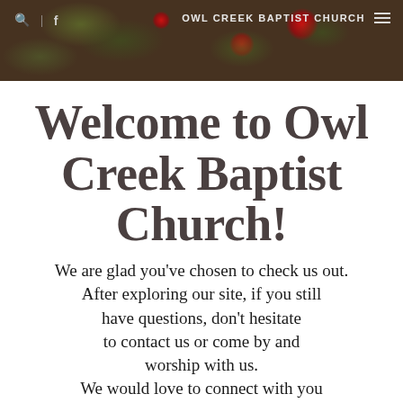[Figure (photo): Header photo of Christmas pine branches and red ornaments with dark background, overlaid with navigation bar showing search icon, Facebook icon, site title OWL CREEK BAPTIST CHURCH, and hamburger menu]
OWL CREEK BAPTIST CHURCH
Welcome to Owl Creek Baptist Church!
We are glad you've chosen to check us out. After exploring our site, if you still have questions, don't hesitate to contact us or come by and worship with us. We would love to connect with you